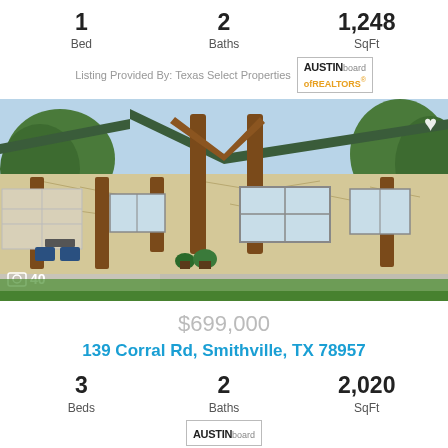1 Bed   2 Baths   1,248 SqFt
Listing Provided By: Texas Select Properties
[Figure (photo): Exterior photo of a stone ranch-style home with wood beam covered porch, green metal roof, patio furniture, and landscaping. Photo count overlay shows camera icon and '40'.]
$699,000
139 Corral Rd, Smithville, TX 78957
3 Beds   2 Baths   2,020 SqFt
[Figure (logo): Austin Board of REALTORS logo (partially visible at bottom)]